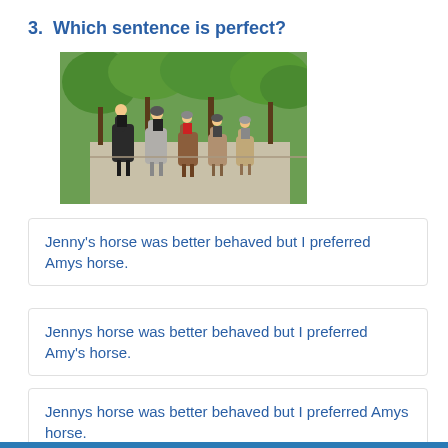3.  Which sentence is perfect?
[Figure (photo): Group of people riding horses on a road, wearing helmets, with green trees in background]
Jenny's horse was better behaved but I preferred Amys horse.
Jennys horse was better behaved but I preferred Amy's horse.
Jennys horse was better behaved but I preferred Amys horse.